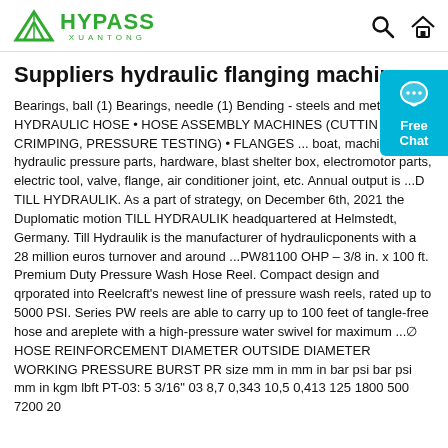HYPASS XUANTONG — logo header with search and home icons
Suppliers hydraulic flanging machine | Europa…
Bearings, ball (1) Bearings, needle (1) Bending - steels and metals ... • HYDRAULIC HOSE • HOSE ASSEMBLY MACHINES (CUTTING, CRIMPING, PRESSURE TESTING) • FLANGES ... boat, machinery, hydraulic pressure parts, hardware, blast shelter box, electromotor parts, electric tool, valve, flange, air conditioner joint, etc. Annual output is ...D TILL HYDRAULIK. As a part of strategy, on December 6th, 2021 the Duplomatic motion TILL HYDRAULIK headquartered at Helmstedt, Germany. Till Hydraulik is the manufacturer of hydraulicponents with a 28 million euros turnover and around ...PW81100 OHP – 3/8 in. x 100 ft. Premium Duty Pressure Wash Hose Reel. Compact design and qrporated into Reelcraft's newest line of pressure wash reels, rated up to 5000 PSI. Series PW reels are able to carry up to 100 feet of tangle-free hose and areplete with a high-pressure water swivel for maximum ...∅ HOSE REINFORCEMENT DIAMETER OUTSIDE DIAMETER WORKING PRESSURE BURST PR size mm in mm in bar psi bar psi mm in kgm lbft PT-03: 5 3/16" 03 8,7 0,343 10,5 0,413 125 1800 500 7200 20